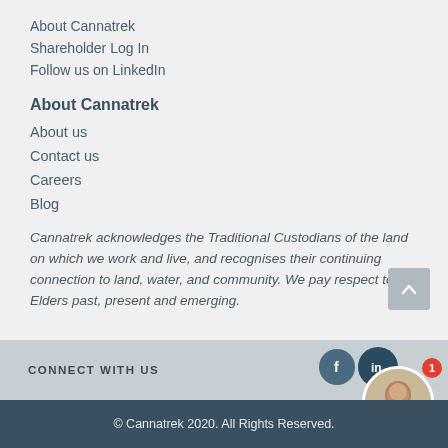About Cannatrek
Shareholder Log In
Follow us on LinkedIn
About Cannatrek
About us
Contact us
Careers
Blog
Cannatrek acknowledges the Traditional Custodians of the land on which we work and live, and recognises their continuing connection to land, water, and community. We pay respect to Elders past, present and emerging.
CONNECT WITH US
© Cannatrek 2020. All Rights Reserved.